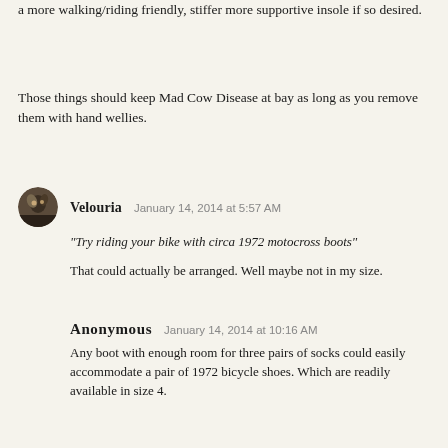a more walking/riding friendly, stiffer more supportive insole if so desired.
Those things should keep Mad Cow Disease at bay as long as you remove them with hand wellies.
Velouria  January 14, 2014 at 5:57 AM
"Try riding your bike with circa 1972 motocross boots"
That could actually be arranged. Well maybe not in my size.
Anonymous  January 14, 2014 at 10:16 AM
Any boot with enough room for three pairs of socks could easily accommodate a pair of 1972 bicycle shoes. Which are readily available in size 4.